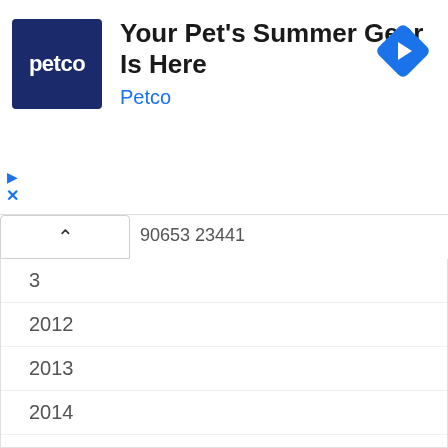[Figure (screenshot): Petco advertisement banner with logo, headline 'Your Pet's Summer Gear Is Here', brand name 'Petco', and navigation diamond icon]
90653 23441
3
2012
2013
2014
2015
2016
2017
2018